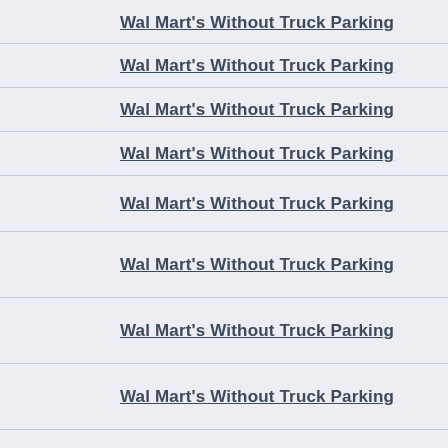Wal Mart's Without Truck Parking
Wal Mart's Without Truck Parking
Wal Mart's Without Truck Parking
Wal Mart's Without Truck Parking
Wal Mart's Without Truck Parking
Wal Mart's Without Truck Parking
Wal Mart's Without Truck Parking
Wal Mart's Without Truck Parking
Wal Mart's Without Truck Parking